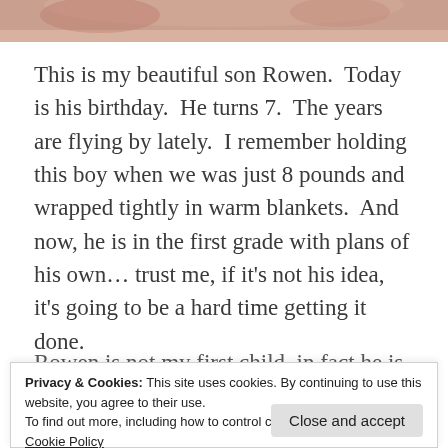[Figure (photo): Partial photo of a child's hands/face against a brick background, cropped at top of page]
This is my beautiful son Rowen.  Today is his birthday.  He turns 7.  The years are flying by lately.  I remember holding this boy when we was just 8 pounds and wrapped tightly in warm blankets.  And now, he is in the first grade with plans of his own… trust me, if it's not his idea, it's going to be a hard time getting it done.
Rowen is not my first child, in fact he is my fourth
Privacy & Cookies: This site uses cookies. By continuing to use this website, you agree to their use.
To find out more, including how to control cookies, see here:
Cookie Policy
Close and accept
to be. Obviously, God had planned on me being a